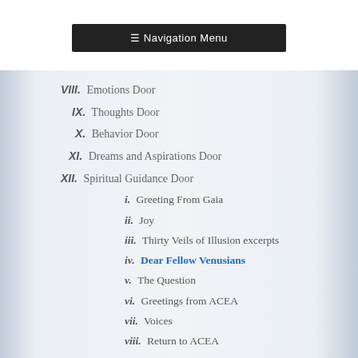≡ Navigation Menu
VIII. Emotions Door
IX. Thoughts Door
X. Behavior Door
XI. Dreams and Aspirations Door
XII. Spiritual Guidance Door
i. Greeting From Gaia
ii. Joy
iii. Thirty Veils of Illusion excerpts
iv. Dear Fellow Venusians
v. The Question
vi. Greetings from ACEA
vii. Voices
viii. Return to ACEA